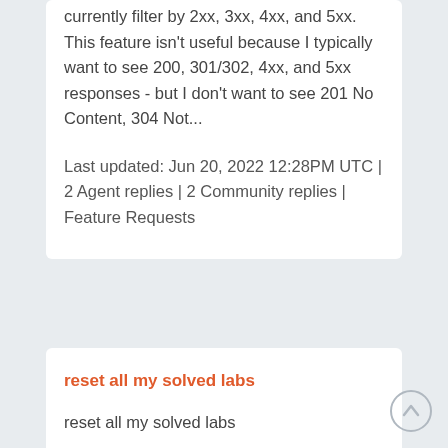currently filter by 2xx, 3xx, 4xx, and 5xx. This feature isn't useful because I typically want to see 200, 301/302, 4xx, and 5xx responses - but I don't want to see 201 No Content, 304 Not...
Last updated: Jun 20, 2022 12:28PM UTC | 2 Agent replies | 2 Community replies | Feature Requests
reset all my solved labs
reset all my solved labs